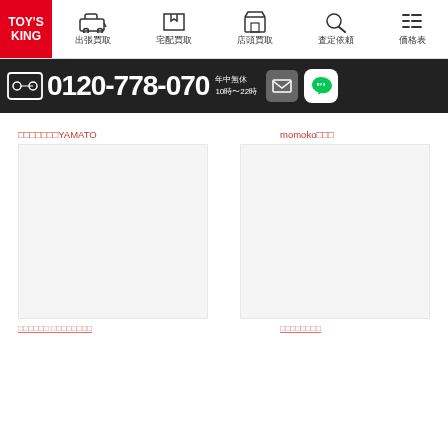[Figure (logo): TOY'S KING logo in red box with white text]
出張買取　宅配買取　店頭買取　査定依頼　価格表
[Figure (infographic): Phone banner: 0120-778-070 年中無休 10時〜22時 with mail and LINE icons]
□□□□□□□YAMATO
momoko□□□
□□□□□□ □□□□□□□□
□□□□□□□□